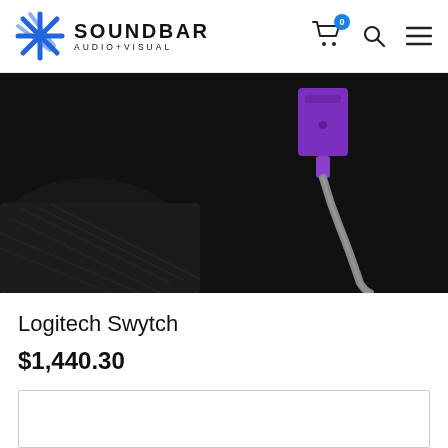SOUNDBAR AUDIO+VISUAL
[Figure (photo): Close-up product photo of a Logitech Swytch device with a purple USB connector and cable on a dark black background with textured fabric visible in the lower left corner.]
Logitech Swytch
$1,440.30